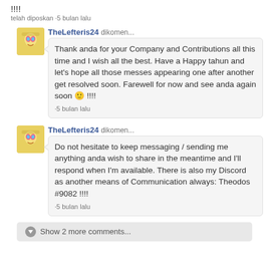!!!!
telah diposkan ·5 bulan lalu
TheLefteris24 dikomen...
Thank anda for your Company and Contributions all this time and I wish all the best. Have a Happy tahun and let's hope all those messes appearing one after another get resolved soon. Farewell for now and see anda again soon 🙂 !!!!
·5 bulan lalu
TheLefteris24 dikomen...
Do not hesitate to keep messaging / sending me anything anda wish to share in the meantime and I'll respond when I'm available. There is also my Discord as another means of Communication always: Theodos #9082 !!!!
·5 bulan lalu
Show 2 more comments...